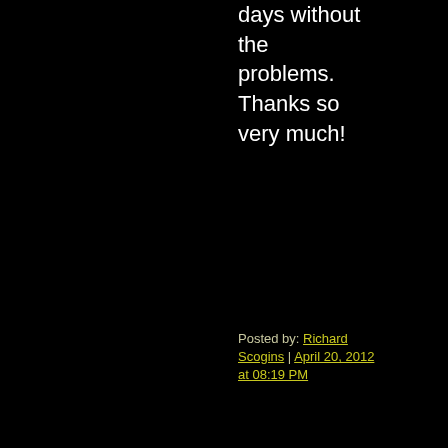days without the problems. Thanks so very much!
Posted by: Richard Scogins | April 20, 2012 at 08:19 PM
[Figure (illustration): Square avatar image with yellow-green flower/sunburst pattern on white border background]
It was October 3, 1963, some place in the Detroit area, I took my best